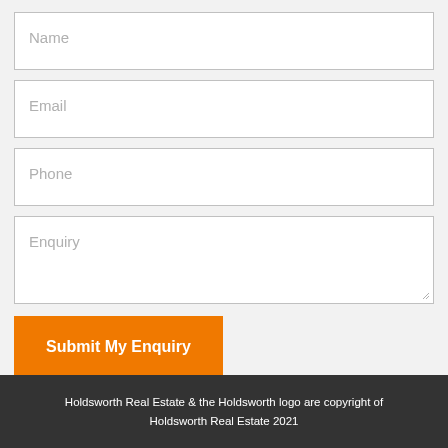[Figure (screenshot): Web enquiry form with input fields for Name, Email, Phone, Enquiry, and a Submit My Enquiry button]
Holdsworth Real Estate & the Holdsworth logo are copyright of Holdsworth Real Estate 2021